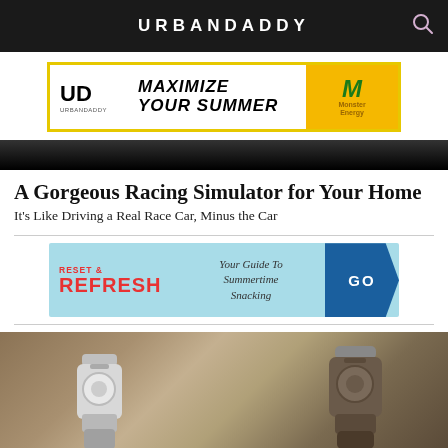URBANDADDY
[Figure (infographic): Advertisement banner with UD logo, MAXIMIZE YOUR SUMMER text, and Monster Energy branding on yellow background with yellow border]
[Figure (other): Dark strip/image banner separating header from article content]
A Gorgeous Racing Simulator for Your Home
It's Like Driving a Real Race Car, Minus the Car
[Figure (infographic): Advertisement banner: RESET & REFRESH - Your Guide To Summertime Snacking with GO button on light blue background]
[Figure (photo): Photo of racing simulator steering wheel devices on a table in a home setting]